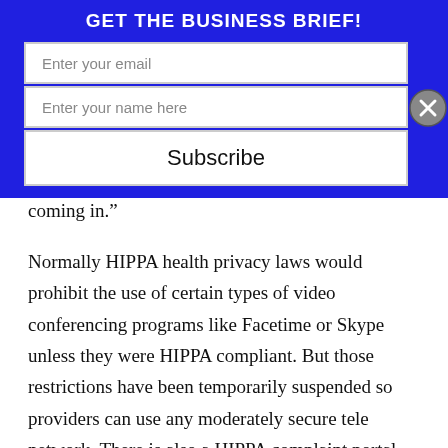GET THE BUSINESS BRIEF!
Enter your email
Enter your name here
Subscribe
coming in.”
Normally HIPPA health privacy laws would prohibit the use of certain types of video conferencing programs like Facetime or Skype unless they were HIPPA compliant. But those restrictions have been temporarily suspended so providers can use any moderately secure tele network. There is also a HIPPA complaint portal available from Zoom that costs only $200 a month.